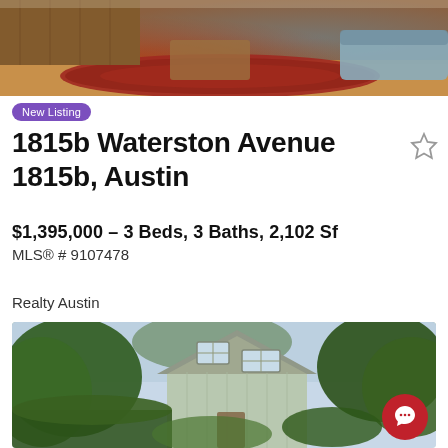[Figure (photo): Interior photo of a living room with a large red Persian rug on hardwood floors and a gray sofa visible]
New Listing
1815b Waterston Avenue 1815b, Austin
$1,395,000 – 3 Beds, 3 Baths, 2,102 Sf
MLS® # 9107478
Realty Austin
[Figure (photo): Exterior photo of a two-story light grey/mint colored house with board-and-batten siding surrounded by lush green trees and plants]